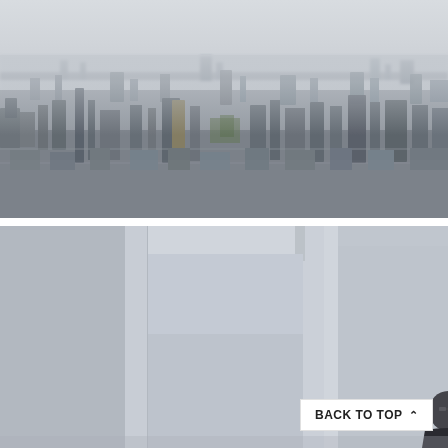[Figure (photo): Aerial view of a dense urban cityscape seen from a high vantage point, with overcast hazy sky. Thousands of buildings stretching to the horizon, with a few taller skyscrapers visible.]
[Figure (photo): Interior view from a high-rise building looking out through floor-to-ceiling glass windows/columns. A person (man with glasses) is visible in the lower portion of the frame, with an overcast grey sky outside.]
BACK TO TOP ∧